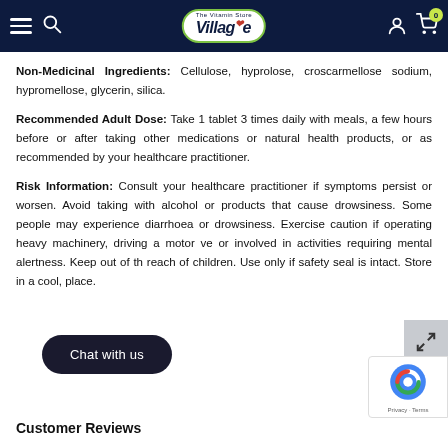Village The Vitamin Store
Non-Medicinal Ingredients: Cellulose, hyprolose, croscarmellose sodium, hypromellose, glycerin, silica.
Recommended Adult Dose: Take 1 tablet 3 times daily with meals, a few hours before or after taking other medications or natural health products, or as recommended by your healthcare practitioner.
Risk Information: Consult your healthcare practitioner if symptoms persist or worsen. Avoid taking with alcohol or products that cause drowsiness. Some people may experience diarrhoea or drowsiness. Exercise caution if operating heavy machinery, driving a motor ve... or involved in activities requiring mental alertness. Keep out of th... reach of children. Use only if safety seal is intact. Store in a cool, place.
Customer Reviews